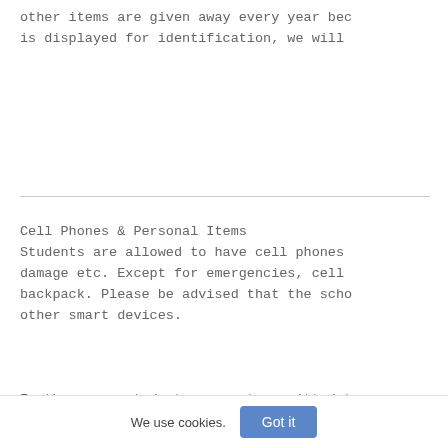other items are given away every year bec
is displayed for identification, we will
Cell Phones & Personal Items
Students are allowed to have cell phones
damage etc. Except for emergencies, cell
backpack. Please be advised that the scho
other smart devices.
Furthermore, students are not permitted t